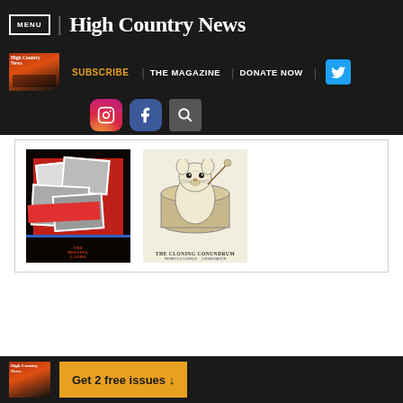MENU | High Country News
SUBSCRIBE | THE MAGAZINE | DONATE NOW
[Figure (screenshot): Two magazine covers shown side by side: left cover is dark with scattered photos/items, right cover shows ferret illustration titled THE CLONING CONUNDRUM]
Get 2 free issues ↓